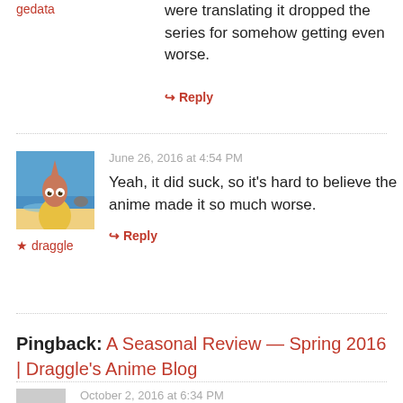were translating it dropped the series for somehow getting even worse.
gedata
↪ Reply
June 26, 2016 at 4:54 PM
[Figure (photo): Avatar image of a cartoon character resembling Patrick Star with a pointed head, standing on a beach]
★ draggle
Yeah, it did suck, so it's hard to believe the anime made it so much worse.
↪ Reply
Pingback: A Seasonal Review — Spring 2016 | Draggle's Anime Blog
October 2, 2016 at 6:34 PM